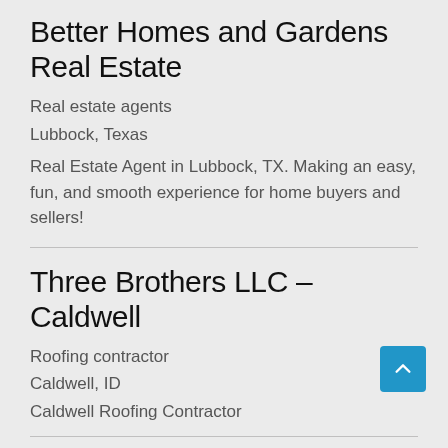Better Homes and Gardens Real Estate
Real estate agents
Lubbock, Texas
Real Estate Agent in Lubbock, TX. Making an easy, fun, and smooth experience for home buyers and sellers!
Three Brothers LLC – Caldwell
Roofing contractor
Caldwell, ID
Caldwell Roofing Contractor
Casabona Chiropractic